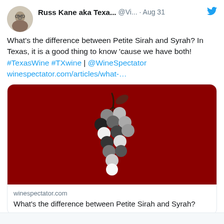Russ Kane aka Texa... @Vi... · Aug 31
What's the difference between Petite Sirah and Syrah? In Texas, it is a good thing to know 'cause we have both! #TexasWine #TXwine | @WineSpectator winespectator.com/articles/what-…
[Figure (illustration): Wine article card with dark red background showing a stylized bunch of grapes illustration in black, white, and grey tones. Below the image: source 'winespectator.com' and headline 'What's the difference between Petite Sirah and Syrah?']
winespectator.com
What's the difference between Petite Sirah and Syrah?